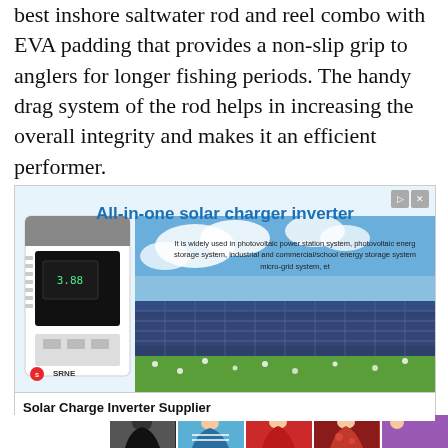best inshore saltwater rod and reel combo with EVA padding that provides a non-slip grip to anglers for longer fishing periods. The handy drag system of the rod helps in increasing the overall integrity and makes it an efficient performer.
[Figure (photo): Advertisement banner for SRNE All-in-one solar charger inverter showing solar panels in a field and an inverter/battery device. Text reads: 'All-in-one solar charger inverter. It is widely used in photovoltaic power station system, photovoltaic energy storage system, industrial and commercial/school energy storage system, micro-grid system, et'. Bottom bar shows 'Solar Charge Inverter Supplier'.]
[Figure (photo): Strip of clothing product thumbnails showing women's fashion items in various colors and styles.]